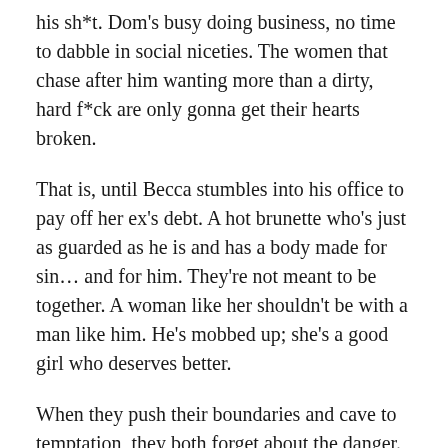his sh*t. Dom's busy doing business, no time to dabble in social niceties. The women that chase after him wanting more than a dirty, hard f*ck are only gonna get their hearts broken.
That is, until Becca stumbles into his office to pay off her ex's debt. A hot brunette who's just as guarded as he is and has a body made for sin… and for him. They're not meant to be together. A woman like her shouldn't be with a man like him. He's mobbed up; she's a good girl who deserves better.
When they push their boundaries and cave to temptation, they both forget about the danger. And that's a mistake a man like Dom can't afford.